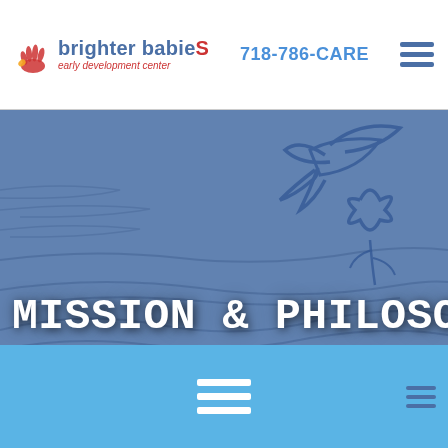brighter babies early development center | 718-786-CARE
[Figure (screenshot): Hero banner image with blue/slate crayon-drawing textured background showing abstract children's crayon art (bird/flower shapes), with large white text reading MISSION & PHILOSOPHY overlaid]
MISSION & PHILOSOPHY